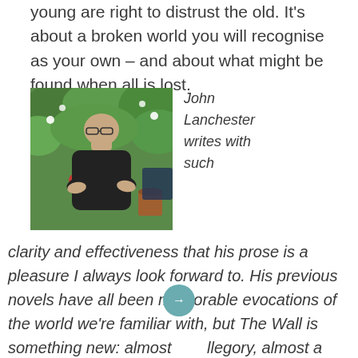young are right to distrust the old. It's about a broken world you will recognise as your own – and about what might be found when all is lost.
[Figure (photo): Photograph of John Lanchester, a bald man with glasses wearing a black polo shirt, arms crossed, standing in front of green garden foliage.]
John Lanchester writes with such
clarity and effectiveness that his prose is a pleasure I always look forward to. His previous novels have all been memorable evocations of the world we're familiar with, but The Wall is something new: almost allegory, almost a dystopian-future warning, partly an elegant study